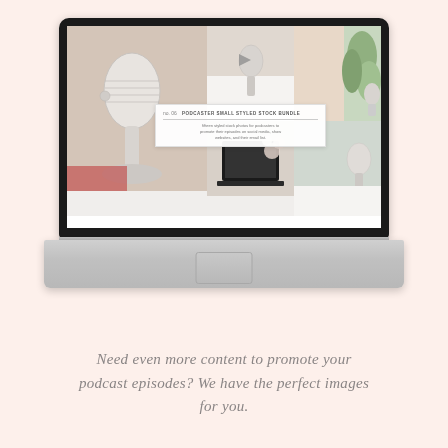[Figure (screenshot): A MacBook laptop displaying a website or product page showing a grid of styled stock photos featuring podcast microphones and related equipment. An overlay card on the screen reads 'PODCASTER SMALL STYLED STOCK BUNDLE' with a brief description about styled stock photos for podcasters to promote their episodes on social media, show websites, and their email list.]
Need even more content to promote your podcast episodes? We have the perfect images for you.